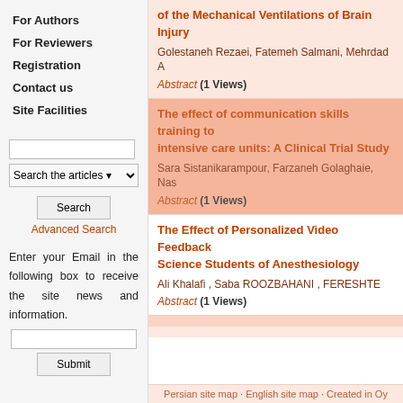For Authors
For Reviewers
Registration
Contact us
Site Facilities
Search the articles
Advanced Search
Enter your Email in the following box to receive the site news and information.
of the Mechanical Ventilations of Brain Injury
Golestaneh Rezaei, Fatemeh Salmani, Mehrdad A
Abstract (1 Views)
The effect of communication skills training to intensive care units: A Clinical Trial Study
Sara Sistanikarampour, Farzaneh Golaghaie, Nas
Abstract (1 Views)
The Effect of Personalized Video Feedback Science Students of Anesthesiology
Ali Khalafi , Saba ROOZBAHANI , FERESHTE
Abstract (1 Views)
Persian site map · English site map · Created in Oy